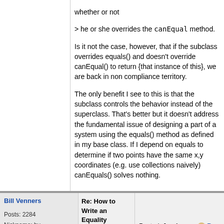whether or not
> he or she overrides the canEqual method.

Is it not the case, however, that if the subclass overrides equals() and doesn't override canEqual() to return {that instance of this}, we are back in non compliance territory.

The only benefit I see to this is that the subclass controls the behavior instead of the superclass. That's better but it doesn't address the fundamental issue of designing a part of a system using the equals() method as defined in my base class. If I depend on equals to determine if two points have the same x,y coordinates (e.g. use collections naively) canEquals() solves nothing.
Bill Venners
Posts: 2284
Nickname: bv
Registered: Jan, 2002
Re: How to Write an Equality Method in Java
Posted: Jun 1, 2009 2:15 PM
Rep